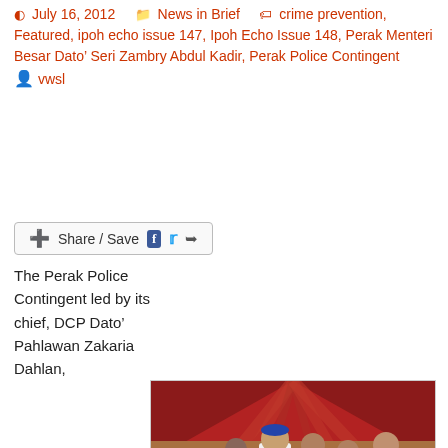July 16, 2012   News in Brief   crime prevention, Featured, ipoh echo issue 147, Ipoh Echo Issue 148, Perak Menteri Besar Dato' Seri Zambry Abdul Kadir, Perak Police Contingent   vwsl
[Figure (other): Share / Save button with Facebook and Twitter icons]
[Figure (photo): Officials including a man in white shirt and police officers looking at piles of seized items (possibly drugs or contraband) on a table under a red tent canopy. Watermark: www.ipohecho.com.my]
The Perak Police Contingent led by its chief, DCP Dato' Pahlawan Zakaria Dahlan, organised a crime awareness programme in Kamunting recently. Its primary objective was to educate residents as